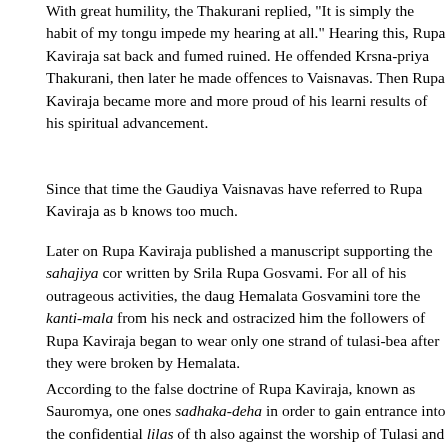With great humility, the Thakurani replied, "It is simply the habit of my tongue to impede my hearing at all." Hearing this, Rupa Kaviraja sat back and fumed ruined. He offended Krsna-priya Thakurani, then later he made offences to Vaisnavas. Then Rupa Kaviraja became more and more proud of his learni results of his spiritual advancement.
Since that time the Gaudiya Vaisnavas have referred to Rupa Kaviraja as b knows too much.
Later on Rupa Kaviraja published a manuscript supporting the sahajiya cor written by Srila Rupa Gosvami. For all of his outrageous activities, the daug Hemalata Gosvamini tore the kanti-mala from his neck and ostracized him the followers of Rupa Kaviraja began to wear only one strand of tulasi-bea after they were broken by Hemalata.
According to the false doctrine of Rupa Kaviraja, known as Sauromya, one ones sadhaka-deha in order to gain entrance into the confidential lilas of th also against the worship of Tulasi and Salagrama and the following of ekad Vrndavana do not follow these vidhis.
In time the luster of Rupa Kaviraja disappeared and he soon contacted lepr entire body. Reduced to a decaying wretch, Rupa Kaviraja fled to Bengal a asrama pretending that everything was normal. But the Vaisnavas of Benga he was forced to leave Bengal. He then traveled to Orissa and stayed in the body became thoroughly eaten up with leprosy and in great pain he slowly who would haunt those who committed Vaisnava-aparadha.
The following excerpt from an article by Srila Prabhupada Bhaktisiddhanta